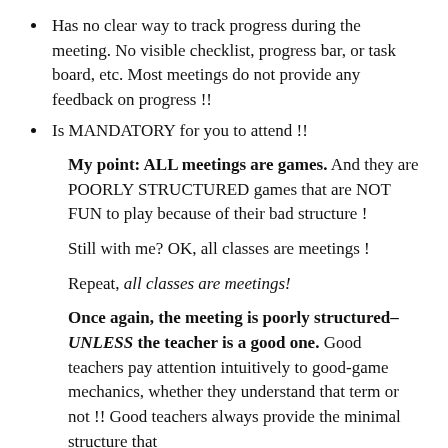Has no clear way to track progress during the meeting. No visible checklist, progress bar, or task board, etc. Most meetings do not provide any feedback on progress !!
Is MANDATORY for you to attend !!
My point: ALL meetings are games. And they are POORLY STRUCTURED games that are NOT FUN to play because of their bad structure !
Still with me? OK, all classes are meetings !
Repeat, all classes are meetings!
Once again, the meeting is poorly structured–UNLESS the teacher is a good one. Good teachers pay attention intuitively to good-game mechanics, whether they understand that term or not !! Good teachers always provide the minimal structure that